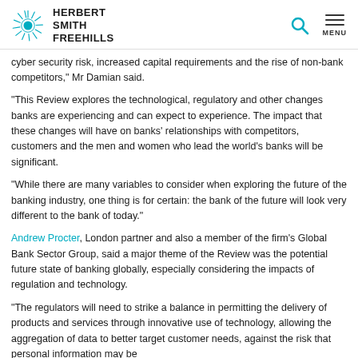Herbert Smith Freehills
cyber security risk, increased capital requirements and the rise of non-bank competitors," Mr Damian said.
“This Review explores the technological, regulatory and other changes banks are experiencing and can expect to experience. The impact that these changes will have on banks’ relationships with competitors, customers and the men and women who lead the world’s banks will be significant.
“While there are many variables to consider when exploring the future of the banking industry, one thing is for certain: the bank of the future will look very different to the bank of today.”
Andrew Procter, London partner and also a member of the firm’s Global Bank Sector Group, said a major theme of the Review was the potential future state of banking globally, especially considering the impacts of regulation and technology.
“The regulators will need to strike a balance in permitting the delivery of products and services through innovative use of technology, allowing the aggregation of data to better target customer needs, against the risk that personal information may be